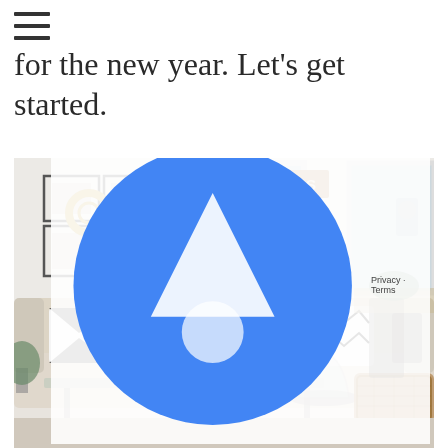≡
for the new year. Let's get started.
[Figure (photo): Bright farmhouse-style living room with a cream sofa, decorative pillows, a large floral arrangement in a white pedestal vase on a glass coffee table, a wicker basket tray, a glass cloche centerpiece, framed art on the wall, a straw wreath, a hanging geometric chandelier, a 'GROCERIES' wooden sign, and metal wall sconces near a large window.]
Privacy · Terms